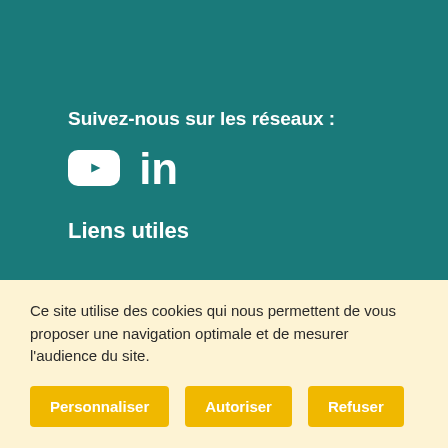Suivez-nous sur les réseaux :
[Figure (logo): YouTube and LinkedIn social media icons in white]
Liens utiles
Ce site utilise des cookies qui nous permettent de vous proposer une navigation optimale et de mesurer l'audience du site.
Personnaliser
Autoriser
Refuser